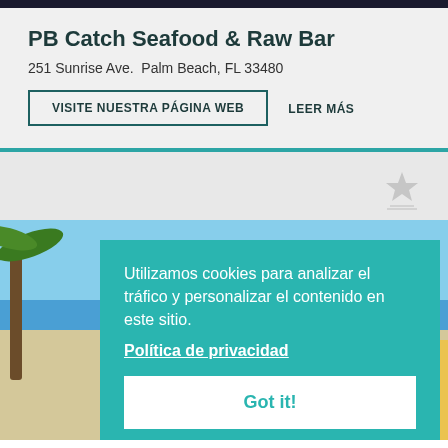PB Catch Seafood & Raw Bar
251 Sunrise Ave.  Palm Beach, FL 33480
VISITE NUESTRA PÁGINA WEB
LEER MÁS
[Figure (screenshot): Beach scene with palm trees, umbrellas, and lounge chairs at a resort]
Utilizamos cookies para analizar el tráfico y personalizar el contenido en este sitio.
Política de privacidad
Got it!